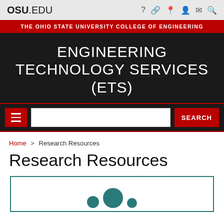OSU.EDU
THE OHIO STATE UNIVERSITY COLLEGE OF ENGINEERING
ENGINEERING TECHNOLOGY SERVICES (ETS)
Home > Research Resources
Research Resources
[Figure (illustration): Teal colored circles representing people/research resources inside a teal-bordered box]